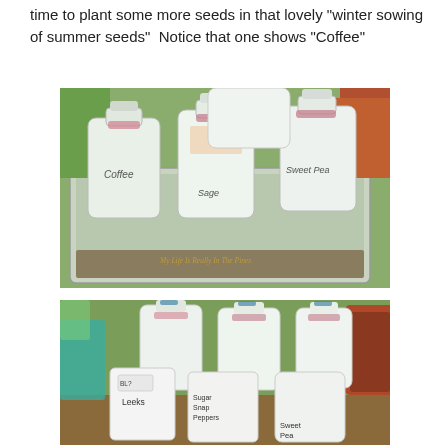time to plant some more seeds in that lovely “winter sowing of summer seeds”  Notice that one shows “Coffee”
[Figure (photo): Plastic milk jugs used as mini greenhouses for winter seed sowing, placed in a plastic storage tray. The jugs are labeled in marker: 'Coffee', 'Sage', 'Sweet Pea'. A watermark reads 'My Life Is Really In The Pines'.]
[Figure (photo): More plastic milk jugs and bags used as mini greenhouses for winter seed sowing, laid on the ground. Labels visible include 'Leeks', 'Sugar Snap Peppers', and 'Sweet Pea'.]